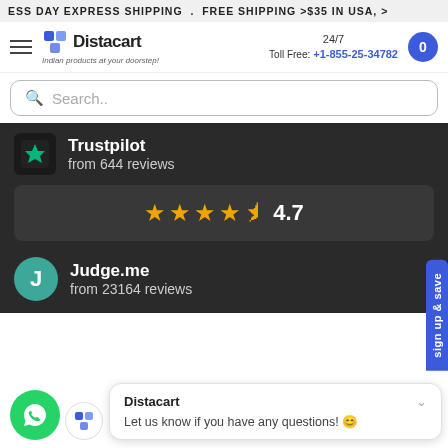ESS DAY EXPRESS SHIPPING . FREE SHIPPING >$35 IN USA, >
[Figure (logo): Distacart logo with hamburger menu, phone number 24/7 Toll Free: +1-855-25-34782, and cart button]
Search..
Trustpilot
from 644 reviews
★★★★½ 4.7
Judge.me
from 23164 reviews
Distacart
Let us know if you have any questions! 😊
sign up & save